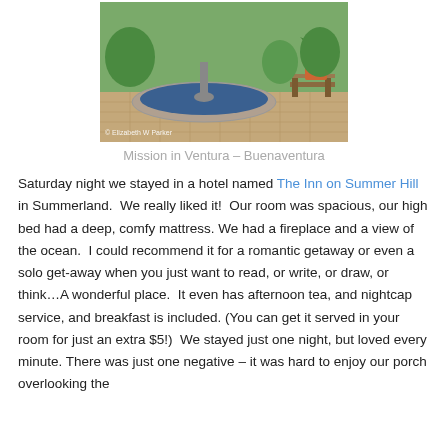[Figure (photo): Outdoor fountain in a garden/courtyard setting with bench and potted plant visible. Photo credit: © Elizabeth W Parker]
Mission in Ventura – Buenaventura
Saturday night we stayed in a hotel named The Inn on Summer Hill in Summerland. We really liked it! Our room was spacious, our high bed had a deep, comfy mattress. We had a fireplace and a view of the ocean. I could recommend it for a romantic getaway or even a solo get-away when you just want to read, or write, or draw, or think…A wonderful place. It even has afternoon tea, and nightcap service, and breakfast is included. (You can get it served in your room for just an extra $5!) We stayed just one night, but loved every minute. There was just one negative – it was hard to enjoy our porch overlooking the